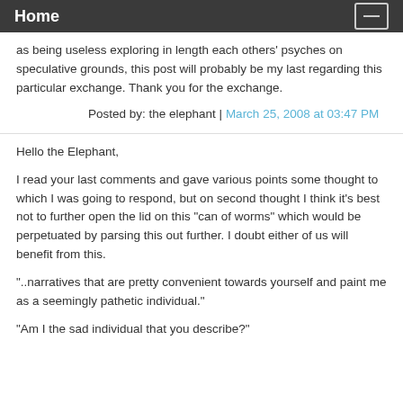Home
as being useless exploring in length each others' psyches on speculative grounds, this post will probably be my last regarding this particular exchange. Thank you for the exchange.
Posted by: the elephant | March 25, 2008 at 03:47 PM
Hello the Elephant,
I read your last comments and gave various points some thought to which I was going to respond, but on second thought I think it's best not to further open the lid on this "can of worms" which would be perpetuated by parsing this out further. I doubt either of us will benefit from this.
"..narratives that are pretty convenient towards yourself and paint me as a seemingly pathetic individual."
"Am I the sad individual that you describe?"